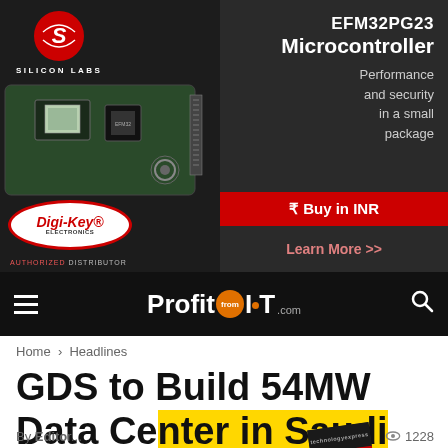[Figure (advertisement): Silicon Labs EFM32PG23 Microcontroller advertisement by Digi-Key Electronics. Features product image of a microcontroller board on dark background. Right side reads: EFM32PG23 Microcontroller, Performance and security in a small package. Bottom section has Digi-Key Electronics logo, a red Buy in INR button with rupee symbol, and Learn More >> link. Tagged as Authorized Distributor.]
[Figure (logo): ProfitfromIOT.com website logo in white on black navigation bar, with hamburger menu on left and search icon on right.]
Home › Headlines
GDS to Build 54MW Data Ce... a
By Editor... | 1228 views